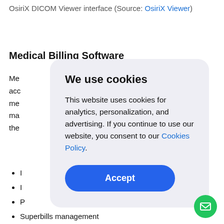OsiriX DICOM Viewer interface (Source: OsiriX Viewer)
Medical Billing Software
Me... acc... me... ma... the... hin
[Figure (screenshot): Cookie consent modal dialog with title 'We use cookies', body text about analytics/personalization/advertising, a Cookies Policy link, and an Accept button.]
I
I
P
Superbills management